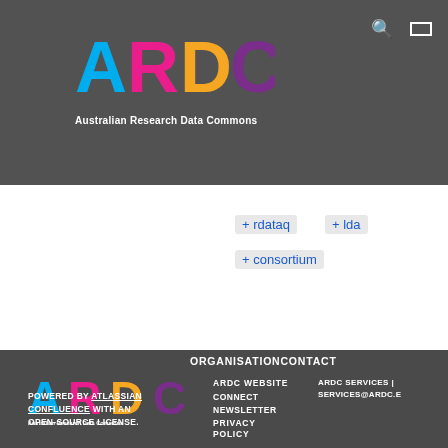[Figure (logo): ARDC logo with coloured letters A (cyan), R (pink), D (yellow), C (purple) and tagline 'Australian Research Data Commons' in white on dark grey background]
+ rdataq
+ lda
+ consortium
[Figure (logo): ARDC logo in footer with coloured letters A (cyan), R (pink), D (yellow), C (purple) and tagline 'Australian Research Data Commons']
ORGANISATIONCONTACT
ARDC WEBSITE
ARDC SERVICES | SERVICES@ARDC.E
CONNECT
NEWSLETTER
PRIVACY POLICY
POWERED BY ATLASSIAN CONFLUENCE  WITH AN OPEN-SOURCE LICENSE.